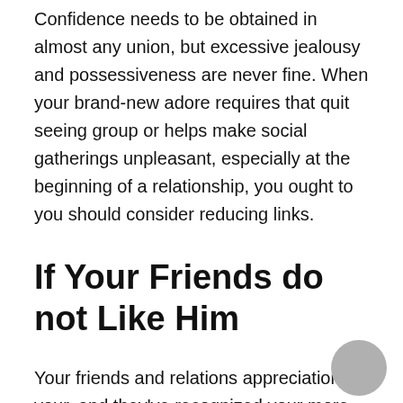Confidence needs to be obtained in almost any union, but excessive jealousy and possessiveness are never fine. When your brand-new adore requires that quit seeing group or helps make social gatherings unpleasant, especially at the beginning of a relationship, you ought to you should consider reducing links.
If Your Friends do not Like Him
Your friends and relations appreciation your, and they've recognized your more than someone else. In the event the companion try letting you know she doesn't such as your latest date, you